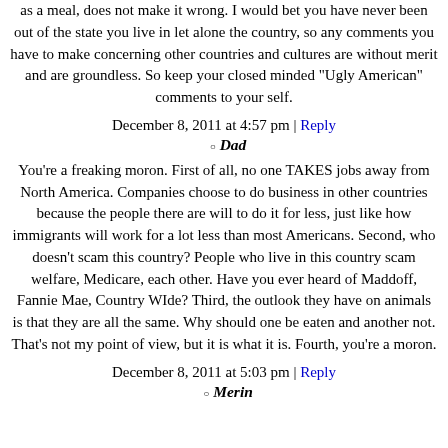as a meal, does not make it wrong. I would bet you have never been out of the state you live in let alone the country, so any comments you have to make concerning other countries and cultures are without merit and are groundless. So keep your closed minded "Ugly American" comments to your self.
December 8, 2011 at 4:57 pm | Reply
Dad
You're a freaking moron. First of all, no one TAKES jobs away from North America. Companies choose to do business in other countries because the people there are will to do it for less, just like how immigrants will work for a lot less than most Americans. Second, who doesn't scam this country? People who live in this country scam welfare, Medicare, each other. Have you ever heard of Maddoff, Fannie Mae, Country WIde? Third, the outlook they have on animals is that they are all the same. Why should one be eaten and another not. That's not my point of view, but it is what it is. Fourth, you're a moron.
December 8, 2011 at 5:03 pm | Reply
Merin